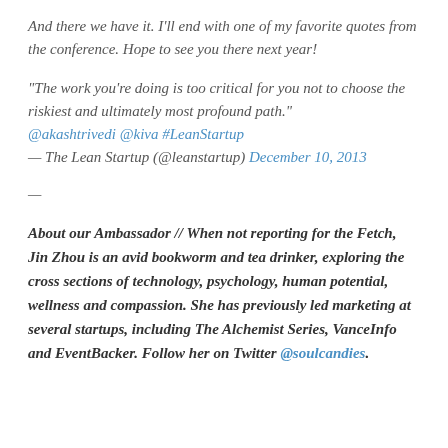And there we have it. I'll end with one of my favorite quotes from the conference. Hope to see you there next year!
“The work you’re doing is too critical for you not to choose the riskiest and ultimately most profound path.” @akashtrivedi @kiva #LeanStartup
— The Lean Startup (@leanstartup) December 10, 2013
—
About our Ambassador // When not reporting for the Fetch, Jin Zhou is an avid bookworm and tea drinker, exploring the cross sections of technology, psychology, human potential, wellness and compassion. She has previously led marketing at several startups, including The Alchemist Series, VanceInfo and EventBacker. Follow her on Twitter @soulcandies.